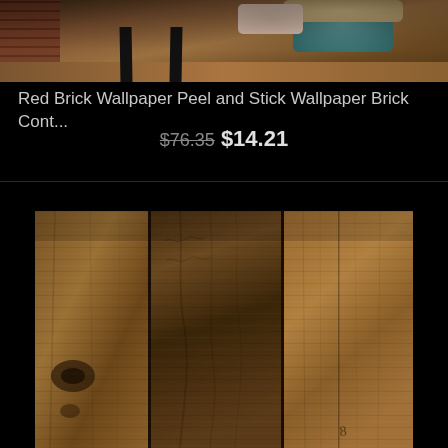[Figure (photo): Product photo showing knit textiles/yarn on a wooden chair against a brick wall background with wooden floor, partially cropped at top]
Red Brick Wallpaper Peel and Stick Wallpaper Brick Cont...
$76.35  $14.21
[Figure (photo): Close-up photo of rustic reclaimed wood planks with visible knots, grain patterns and weathering in brown tones]